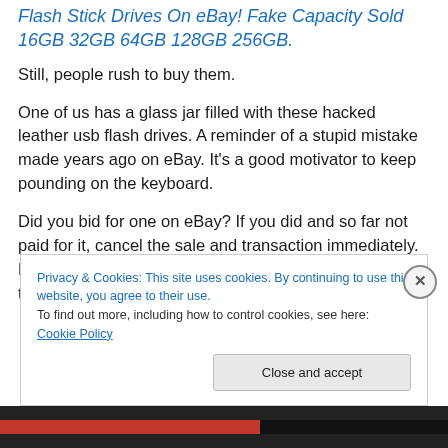Flash Stick Drives On eBay! Fake Capacity Sold 16GB 32GB 64GB 128GB 256GB.
Still, people rush to buy them.
One of us has a glass jar filled with these hacked leather usb flash drives. A reminder of a stupid mistake made years ago on eBay. It’s a good motivator to keep pounding on the keyboard.
Did you bid for one on eBay? If you did and so far not paid for it, cancel the sale and transaction immediately. Report the seller to B…
Privacy & Cookies: This site uses cookies. By continuing to use this website, you agree to their use.
To find out more, including how to control cookies, see here: Cookie Policy
Close and accept